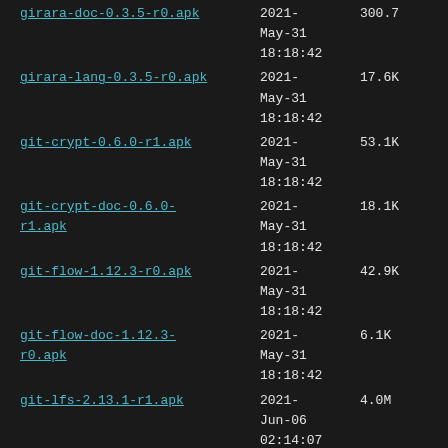girara-doc-0.3.5-r0.apk  2021-May-31 18:18:42  300.7
girara-lang-0.3.5-r0.apk  2021-May-31 18:18:42  17.6K
git-crypt-0.6.0-r1.apk  2021-May-31 18:18:42  53.1K
git-crypt-doc-0.6.0-r1.apk  2021-May-31 18:18:42  18.1K
git-flow-1.12.3-r0.apk  2021-May-31 18:18:42  42.9K
git-flow-doc-1.12.3-r0.apk  2021-May-31 18:18:42  6.1K
git-lfs-2.13.1-r1.apk  2021-Jun-06 02:14:07  4.0M